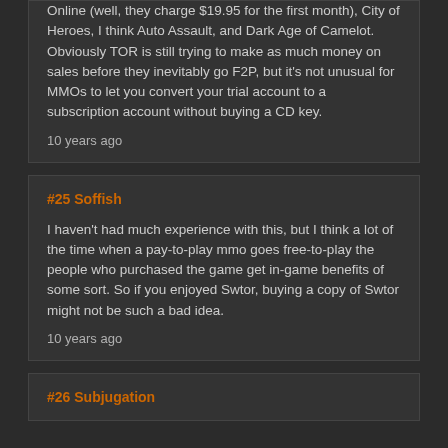Online (well, they charge $19.95 for the first month), City of Heroes, I think Auto Assault, and Dark Age of Camelot. Obviously TOR is still trying to make as much money on sales before they inevitably go F2P, but it's not unusual for MMOs to let you convert your trial account to a subscription account without buying a CD key.
10 years ago
#25 Soffish
I haven't had much experience with this, but I think a lot of the time when a pay-to-play mmo goes free-to-play the people who purchased the game get in-game benefits of some sort. So if you enjoyed Swtor, buying a copy of Swtor might not be such a bad idea.
10 years ago
#26 Subjugation